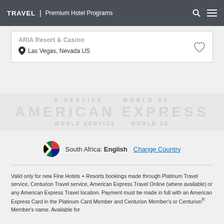TRAVEL | Premium Hotel Programs
Las Vegas, Nevada US
[Figure (other): American Express watermark band with decorative text pattern]
South Africa: English  Change Country
Valid only for new Fine Hotels + Resorts bookings made through Platinum Travel service, Centurion Travel service, American Express Travel Online (where available) or any American Express Travel location. Payment must be made in full with an American Express Card in the Platinum Card Member and Centurion Member's or Centurion® Member's name. Available for